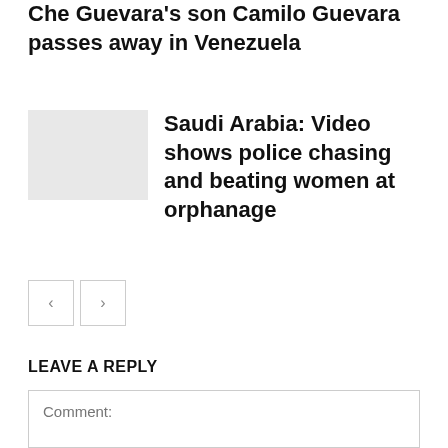Che Guevara's son Camilo Guevara passes away in Venezuela
Saudi Arabia: Video shows police chasing and beating women at orphanage
LEAVE A REPLY
Comment: